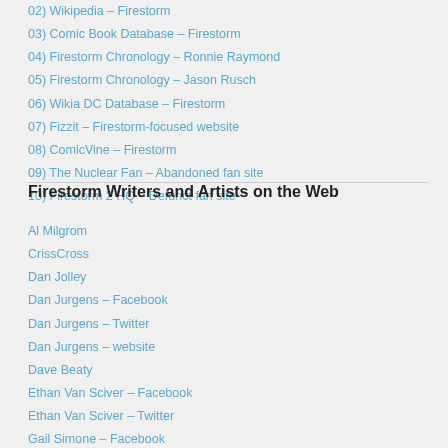02) Wikipedia – Firestorm
03) Comic Book Database – Firestorm
04) Firestorm Chronology – Ronnie Raymond
05) Firestorm Chronology – Jason Rusch
06) Wikia DC Database – Firestorm
07) Fizzit – Firestorm-focused website
08) ComicVine – Firestorm
09) The Nuclear Fan – Abandoned fan site
10) Firestorm 2 HQ – Defunct fan site
Firestorm Writers and Artists on the Web
Al Milgrom
CrissCross
Dan Jolley
Dan Jurgens – Facebook
Dan Jurgens – Twitter
Dan Jurgens – website
Dave Beaty
Ethan Van Sciver – Facebook
Ethan Van Sciver – Twitter
Gail Simone – Facebook
Gail Simone – Twitter
Geoff Johns – Twitter